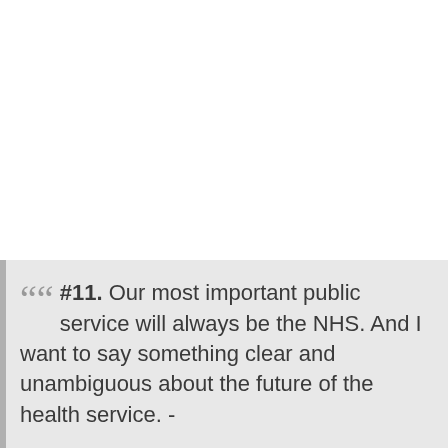“ #11. Our most important public service will always be the NHS. And I want to say something clear and unambiguous about the future of the health service. -